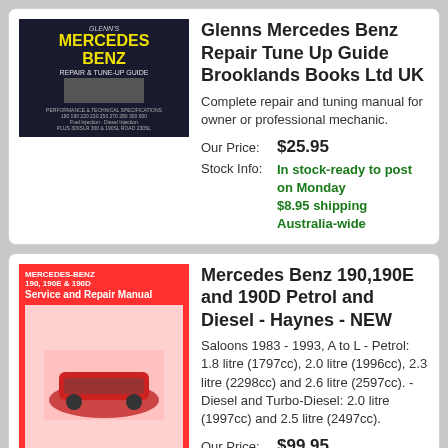[Figure (photo): Book cover: Glenns Mercedes Benz Repair and Tune-Up Guide, black cover with yellow title text and car image]
Glenns Mercedes Benz Repair Tune Up Guide Brooklands Books Ltd UK
Complete repair and tuning manual for owner or professional mechanic.
Our Price: $25.95
Stock Info: In stock-ready to post on Monday $8.95 shipping Australia-wide
[Figure (photo): Book cover: Mercedes-Benz 190, 190E and 190D Haynes Service and Repair Manual, red cover with car image]
Mercedes Benz 190,190E and 190D Petrol and Diesel - Haynes - NEW
Saloons 1983 - 1993, A to L - Petrol: 1.8 litre (1797cc), 2.0 litre (1996cc), 2.3 litre (2298cc) and 2.6 litre (2597cc). - Diesel and Turbo-Diesel: 2.0 litre (1997cc) and 2.5 litre (2497cc).
Our Price: $99.95
Stock Info: In stock-ready to post on Monday $8.95 shipping Australia-wide
[Figure (photo): Book cover: Mercedes Benz C Class W203 2001 2007 Haynes Repair Manual, white and yellow cover with car image]
Mercedes Benz C Class W203 2001 2007 Haynes Service Repair Manual
Mercedes-Benz C-Class (W203) 2001 - 2007 Haynes Owners Service Repair Manual
Our Price: $86.95
Stock Info: In stock-ready to post on Monday $8.95 shipping Australia-wide